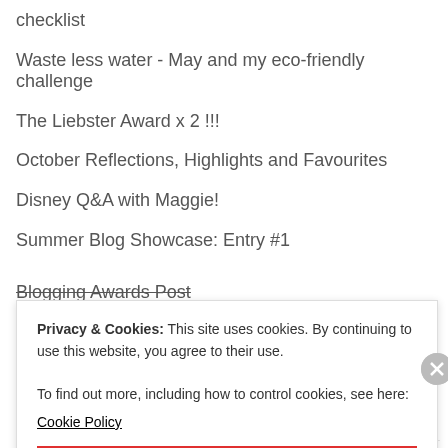checklist
Waste less water - May and my eco-friendly challenge
The Liebster Award x 2 !!!
October Reflections, Highlights and Favourites
Disney Q&A with Maggie!
Summer Blog Showcase: Entry #1
Blogging Awards Post
Privacy & Cookies: This site uses cookies. By continuing to use this website, you agree to their use.
To find out more, including how to control cookies, see here:
Cookie Policy
CLOSE AND ACCEPT